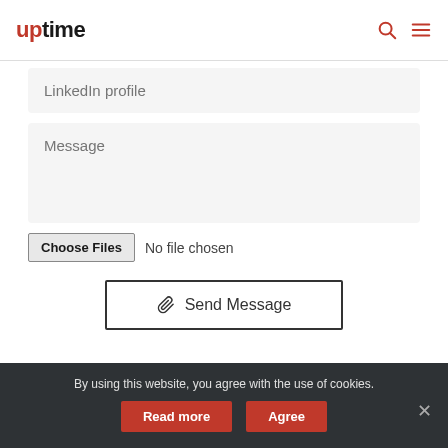uptime
LinkedIn profile
Message
Choose Files  No file chosen
Send Message
By using this website, you agree with the use of cookies.
Read more
Agree